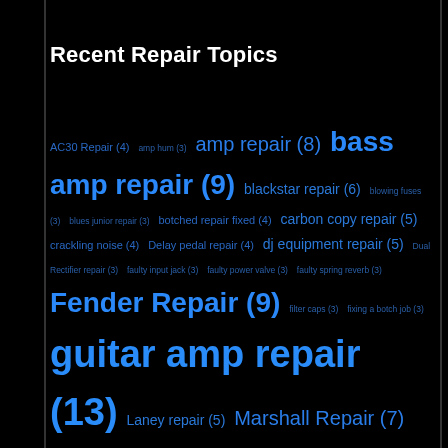Recent Repair Topics
AC30 Repair (4) amp hum (3) amp repair (8) bass amp repair (9) blackstar repair (6) blowing fuses (3) blues junior repair (3) botched repair fixed (4) carbon copy repair (5) crackling noise (4) Delay pedal repair (4) dj equipment repair (5) Dual Rectifier repair (3) faulty input jack (3) faulty power valve (3) faulty spring reverb (3) Fender Repair (9) filter caps (3) fixing a botch job (3) guitar amp repair (13) Laney repair (5) Marshall Repair (7) Mesa Boogie Repair (4) modelling amp repair (3) MXR repair (6) no sound (3) PA repair (3) Pedal Repair (7) repair (38) Service (5) Solid State Amp Repair (12) speaker repair (3) Trace Elliot Repair (3) Valve amp Bias (10) valve amp blowing fuses (7) valve amp repair (33)